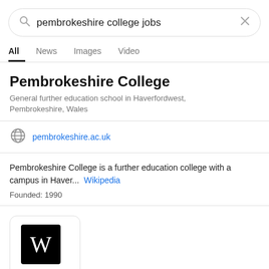[Figure (screenshot): Search bar with query 'pembrokeshire college jobs' and X close button]
All  News  Images  Video
Pembrokeshire College
General further education school in Haverfordwest, Pembrokeshire, Wales
pembrokeshire.ac.uk
Pembrokeshire College is a further education college with a campus in Haver...  Wikipedia
Founded: 1990
[Figure (logo): Wikipedia logo (W on black background) with 'Wiki' label in blue]